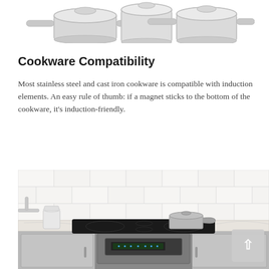[Figure (photo): Partial view of stainless steel cookware pots at the top of the page]
Cookware Compatibility
Most stainless steel and cast iron cookware is compatible with induction elements. An easy rule of thumb: if a magnet sticks to the bottom of the cookware, it's induction-friendly.
[Figure (photo): Kitchen scene showing a modern induction range with stainless steel pots on the cooktop, white subway tile backsplash, white cabinetry, and marble countertop]